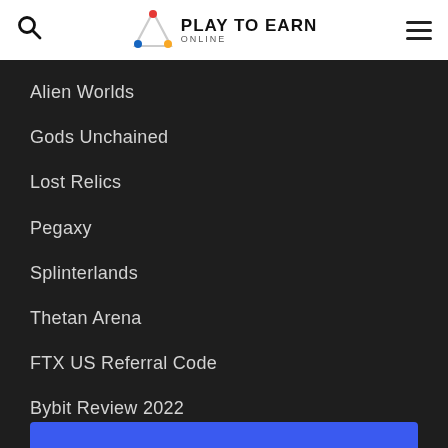Play To Earn Online — navigation header with search and menu icons
Alien Worlds
Gods Unchained
Lost Relics
Pegaxy
Splinterlands
Thetan Arena
FTX US Referral Code
Bybit Review 2022